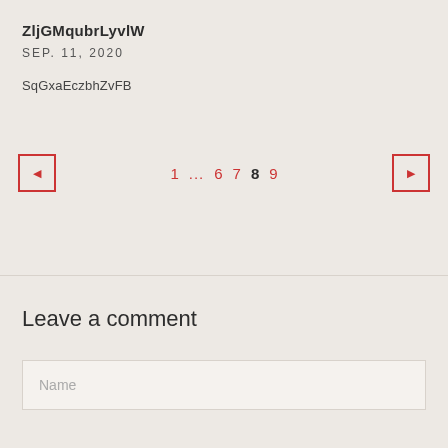ZljGMqubrLyvlW
SEP. 11, 2020
SqGxaEczbhZvFB
◄ 1 … 6 7 8 9 ►
Leave a comment
Name